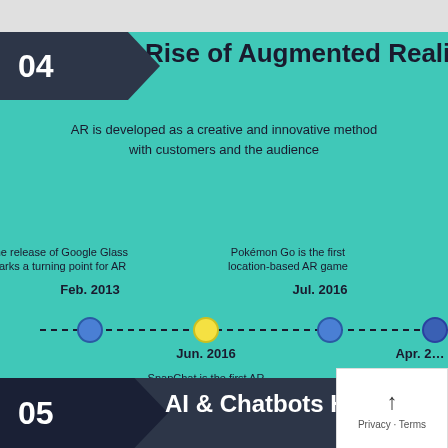04
Rise of Augmented Reality
AR is developed as a creative and innovative method to connect with customers and the audience
[Figure (infographic): Timeline showing AR milestones: Feb. 2013 - The release of Google Glass marks a turning point for AR; Jun. 2016 - SnapChat is the first AR social media app (yellow dot); Jul. 2016 - Pokémon Go is the first location-based AR game; Apr. 2017 - Facebook's Camera is designed for AR]
05
AI & Chatbots Have Been...